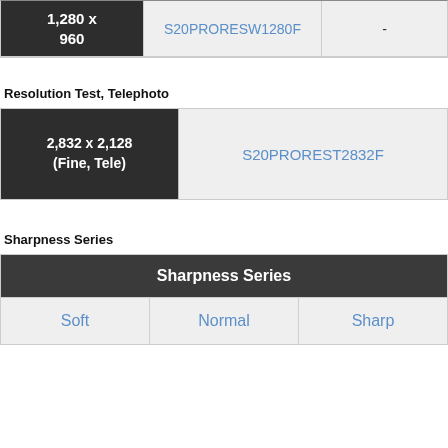| Resolution | File Name |  |
| --- | --- | --- |
| 1,280 x 960 | S20PRORESW1280F | - |
Resolution Test, Telephoto
| Resolution | File Name |
| --- | --- |
| 2,832 x 2,128 (Fine, Tele) | S20PROREST2832F |
Sharpness Series
| Sharpness Series |
| --- |
| Soft | Normal | Sharp |